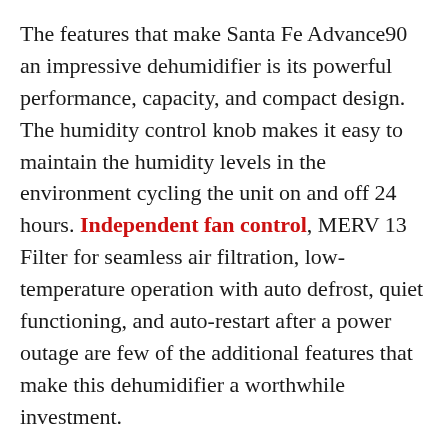The features that make Santa Fe Advance90 an impressive dehumidifier is its powerful performance, capacity, and compact design. The humidity control knob makes it easy to maintain the humidity levels in the environment cycling the unit on and off 24 hours. Independent fan control, MERV 13 Filter for seamless air filtration, low-temperature operation with auto defrost, quiet functioning, and auto-restart after a power outage are few of the additional features that make this dehumidifier a worthwhile investment.

You can also customize your operations by purchasing an optional condensate pump kit for continuous drainage or an optional duct kit. The 6-year warranty is another bonus that you